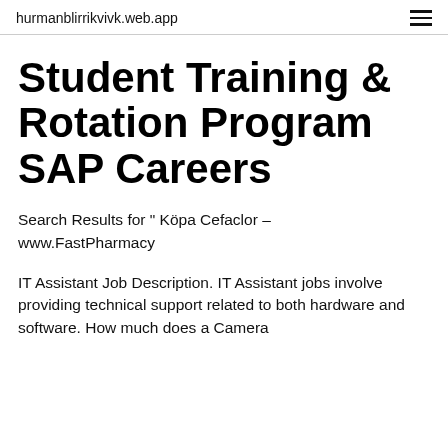hurmanblirrikvivk.web.app
Student Training & Rotation Program SAP Careers
Search Results for " Köpa Cefaclor – www.FastPharmacy
IT Assistant Job Description. IT Assistant jobs involve providing technical support related to both hardware and software. How much does a Camera